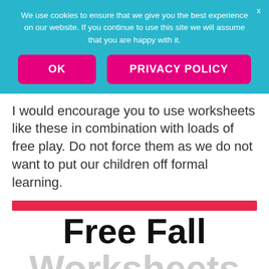We use cookies to ensure that we give you the best experience on our website. If you continue to use this site we will assume that you are happy with it.
OK
PRIVACY POLICY
I would encourage you to use worksheets like these in combination with loads of free play. Do not force them as we do not want to put our children off formal learning.
Free Fall Worksheets